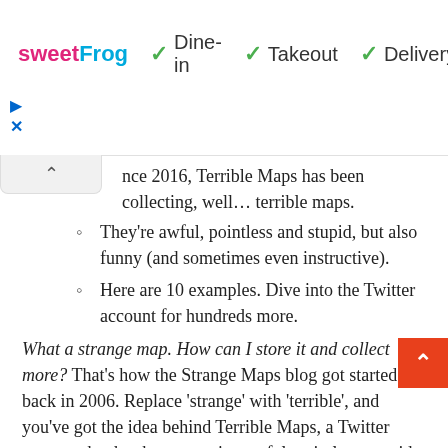[Figure (screenshot): sweetFrog advertisement banner with Dine-in, Takeout, Delivery options and navigation diamond icon]
ince 2016, Terrible Maps has been collecting, well... terrible maps.
They're awful, pointless and stupid, but also funny (and sometimes even instructive).
Here are 10 examples. Dive into the Twitter account for hundreds more.
What a strange map. How can I store it and collect more? That's how the Strange Maps blog got started back in 2006. Replace 'strange' with 'terrible', and you've got the idea behind Terrible Maps, a Twitter account that has been spewing awful, pointless, stupid maps since 2016.
Luckily, most are also quite funny – at least a chuckle, sometimes a snort – and not a few actually offer an insight worth contemplating. Here are our ten favorites. Click on